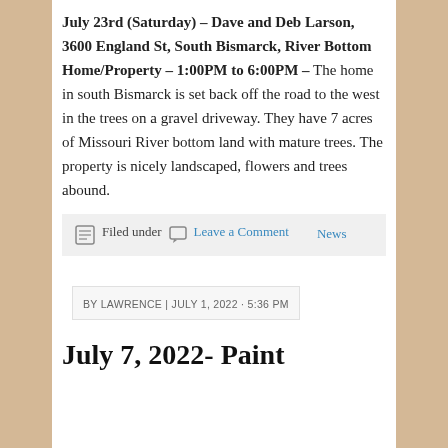July 23rd (Saturday) – Dave and Deb Larson, 3600 England St, South Bismarck, River Bottom Home/Property – 1:00PM to 6:00PM – The home in south Bismarck is set back off the road to the west in the trees on a gravel driveway. They have 7 acres of Missouri River bottom land with mature trees. The property is nicely landscaped, flowers and trees abound.
Filed under  Leave a Comment  News
BY LAWRENCE | JULY 1, 2022 · 5:36 PM
July 7, 2022- Paint